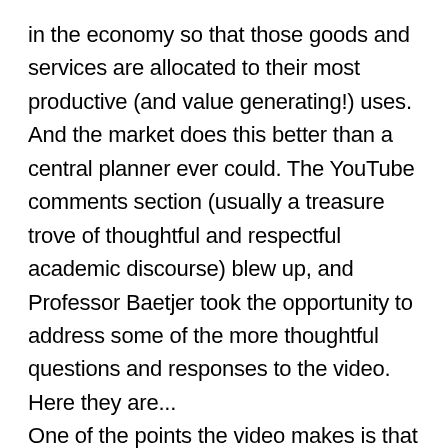in the economy so that those goods and services are allocated to their most productive (and value generating!) uses. And the market does this better than a central planner ever could. The YouTube comments section (usually a treasure trove of thoughtful and respectful academic discourse) blew up, and Professor Baetjer took the opportunity to address some of the more thoughtful questions and responses to the video. Here they are... One of the points the video makes is that central planning fails because planners simply do not have access to the vast stores of information necessary to make decisions about where goods are most productively used. To this point, YouTube commenter